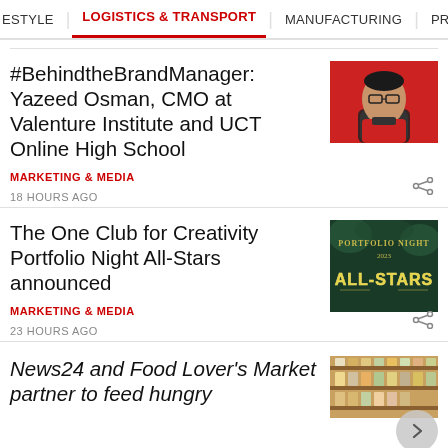ESTYLE  LOGISTICS & TRANSPORT  MANUFACTURING  PROPERTY  RE
#BehindtheBrandManager: Yazeed Osman, CMO at Valenture Institute and UCT Online High School
MARKETING & MEDIA
18 HOURS AGO
[Figure (photo): Portrait photo of a man wearing glasses against a red background]
The One Club for Creativity Portfolio Night All-Stars announced
MARKETING & MEDIA
23 HOURS AGO
[Figure (photo): Dark green decorative image with neon text reading Portfolio Night All-Stars]
News24 and Food Lover's Market partner to feed hungry
[Figure (photo): Store shelves with products]